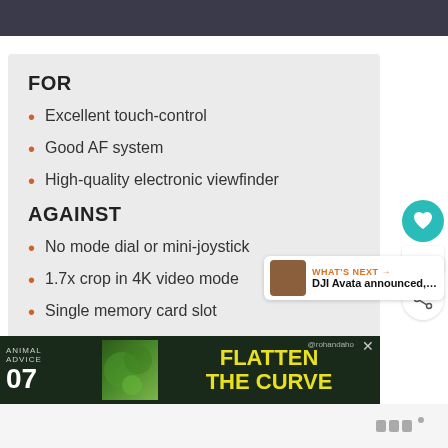FOR
Excellent touch-control
Good AF system
High-quality electronic viewfinder
AGAINST
No mode dial or mini-joystick
1.7x crop in 4K video mode
Single memory card slot
[Figure (screenshot): What's Next snippet showing DJI Avata announced thumbnail and text]
[Figure (infographic): Advertisement banner: Animal Advice 07, Flatten The Curve, @rohandaho]